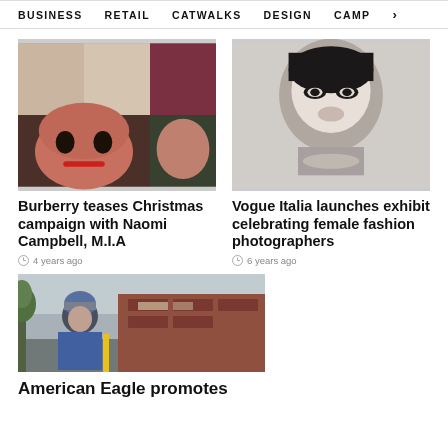BUSINESS   RETAIL   CATWALKS   DESIGN   CAMP >
[Figure (photo): Fashion campaign collage showing multiple models including Naomi Campbell and M.I.A for Burberry Christmas campaign]
Burberry teases Christmas campaign with Naomi Campbell, M.I.A
4 years ago
[Figure (photo): Black and white portrait photograph of a woman, celebrating female fashion photographers for Vogue Italia exhibit]
Vogue Italia launches exhibit celebrating female fashion photographers
6 years ago
[Figure (photo): Man in denim jacket and striped beanie hat standing in front of a brick building - American Eagle promotion]
American Eagle promotes